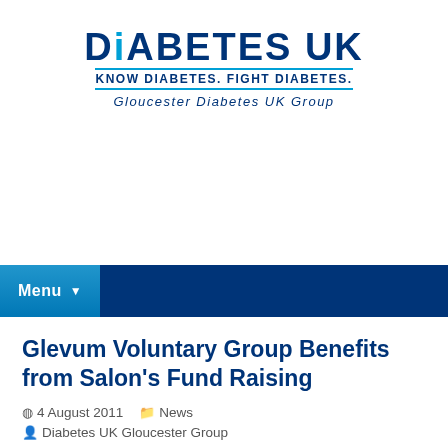[Figure (logo): Diabetes UK logo with tagline 'KNOW DIABETES. FIGHT DIABETES.' and subtitle 'Gloucester Diabetes UK Group']
Menu
Glevum Voluntary Group Benefits from Salon's Fund Raising
4 August 2011   News   Diabetes UK Gloucester Group